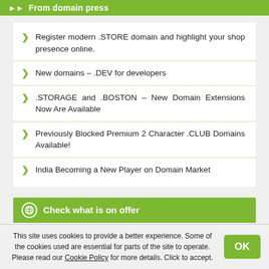From domain press
Register modern .STORE domain and highlight your shop presence online.
New domains – .DEV for developers
.STORAGE and .BOSTON – New Domain Extensions Now Are Available
Previously Blocked Premium 2 Character .CLUB Domains Available!
India Becoming a New Player on Domain Market
Check what is on offer
This site uses cookies to provide a better experience. Some of the cookies used are essential for parts of the site to operate. Please read our Cookie Policy for more details. Click to accept.